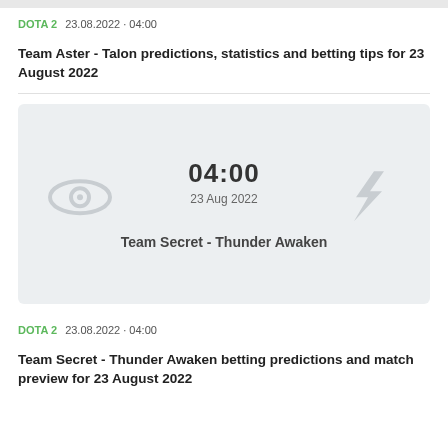DOTA 2  23.08.2022 · 04:00
Team Aster - Talon predictions, statistics and betting tips for 23 August 2022
[Figure (infographic): Match card showing Team Secret vs Thunder Awaken with time 04:00 and date 23 Aug 2022, with team logos on either side]
DOTA 2  23.08.2022 · 04:00
Team Secret - Thunder Awaken betting predictions and match preview for 23 August 2022